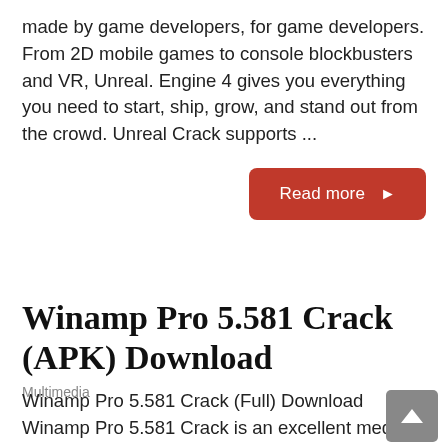made by game developers, for game developers. From 2D mobile games to console blockbusters and VR, Unreal. Engine 4 gives you everything you need to start, ship, grow, and stand out from the crowd. Unreal Crack supports ...
Read more ▶
Winamp Pro 5.581 Crack (APK) Download
Multimedia
Winamp Pro 5.581 Crack (Full) Download Winamp Pro 5.581 Crack is an excellent media player software that can be downloaded and used completely free of charge. Its features include easy navigation and equalizer management for video and audio files. So